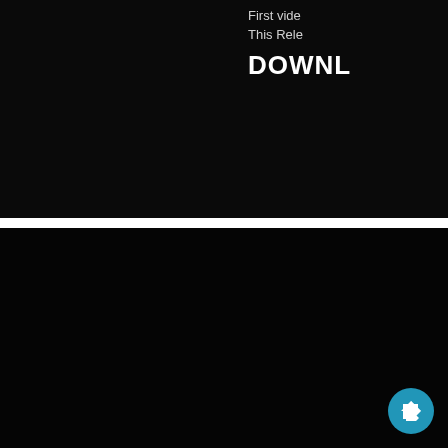First vide
This Rele
DOWNL
[Figure (other): Navigation arrow button - circular teal/cyan button with white arrow pointing up-right]